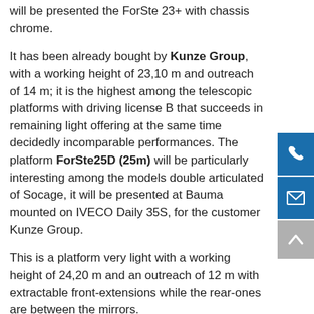will be presented the ForSte 23+ with chassis chrome.
It has been already bought by Kunze Group, with a working height of 23,10 m and outreach of 14 m; it is the highest among the telescopic platforms with driving license B that succeeds in remaining light offering at the same time decidedly incomparable performances. The platform ForSte25D (25m) will be particularly interesting among the models double articulated of Socage, it will be presented at Bauma mounted on IVECO Daily 35S, for the customer Kunze Group.
This is a platform very light with a working height of 24,20 m and an outreach of 12 m with extractable front-extensions while the rear-ones are between the mirrors.
The ForSte 25D is part of the “Serie E” selection of Socage available also with the options automatic stabilization and automatic closing. These are configurations that improve the use of it and guarantee to work safely also for the most unsteady hillsides.